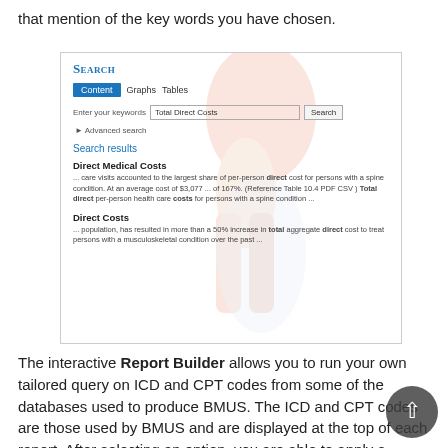that mention of the key words you have chosen.
[Figure (screenshot): Screenshot of a BMUS Search interface showing tabs for Content, Graphs, Tables; a keyword search box with 'Total Direct Costs' entered; an Advanced search link; Search results heading; two results: 'Direct Medical Costs' and 'Direct Costs' with snippet text. A watermark figure of a human body is visible behind the content.]
The interactive Report Builder allows you to run your own tailored query on ICD and CPT codes from some of the databases used to produce BMUS. The ICD and CPT codes are those used by BMUS and are displayed at the top of each report. After selecting an option, you are able to apply a number of filters. Access to the Report Builder and the data is described below.